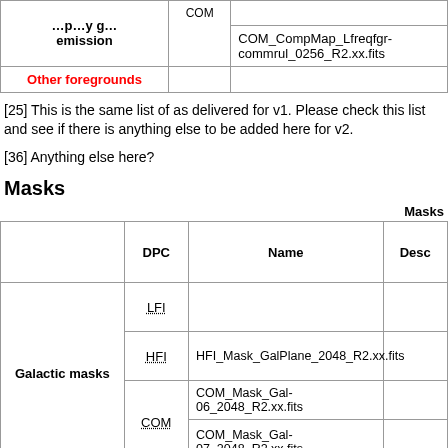|  | COM | COM_CompMap_Lfreqfgr-commrul_0256_R2.xx.fits |  |
| --- | --- | --- | --- |
| Other foregrounds |  |  |  |
[25] This is the same list of as delivered for v1. Please check this list and see if there is anything else to be added here for v2.
[36] Anything else here?
Masks
|  | DPC | Name | Desc |
| --- | --- | --- | --- |
| Galactic masks | LFI |  |  |
| Galactic masks | HFI | HFI_Mask_GalPlane_2048_R2.xx.fits |  |
| Galactic masks | COM | COM_Mask_Gal-06_2048_R2.xx.fits |  |
| Galactic masks | COM | COM_Mask_Gal-07_2048_R2.xx.fits |  |